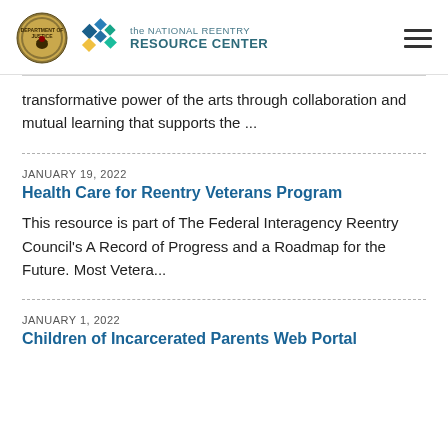the NATIONAL REENTRY RESOURCE CENTER
transformative power of the arts through collaboration and mutual learning that supports the ...
JANUARY 19, 2022
Health Care for Reentry Veterans Program
This resource is part of The Federal Interagency Reentry Council's A Record of Progress and a Roadmap for the Future. Most Vetera...
JANUARY 1, 2022
Children of Incarcerated Parents Web Portal